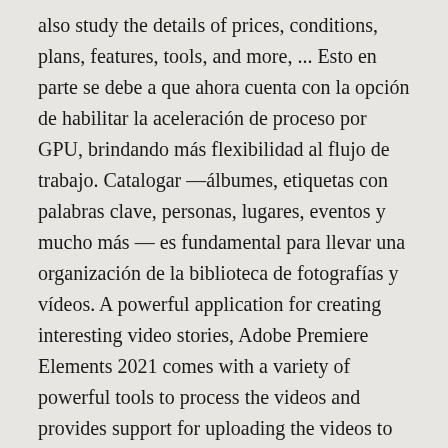also study the details of prices, conditions, plans, features, tools, and more, ... Esto en parte se debe a que ahora cuenta con la opción de habilitar la aceleración de proceso por GPU, brindando más flexibilidad al flujo de trabajo. Catalogar —álbumes, etiquetas con palabras clave, personas, lugares, eventos y mucho más — es fundamental para llevar una organización de la biblioteca de fotografías y vídeos. A powerful application for creating interesting video stories, Adobe Premiere Elements 2021 comes with a variety of powerful tools to process the videos and provides support for uploading the videos to the internet and preparing the content for mobile devices.